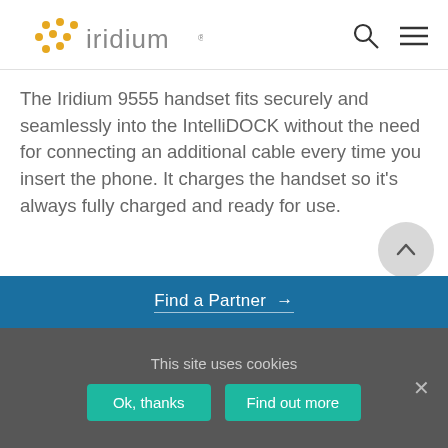iridium
The Iridium 9555 handset fits securely and seamlessly into the IntelliDOCK without the need for connecting an additional cable every time you insert the phone. It charges the handset so it's always fully charged and ready for use.
Find a Partner →
This site uses cookies
Ok, thanks
Find out more